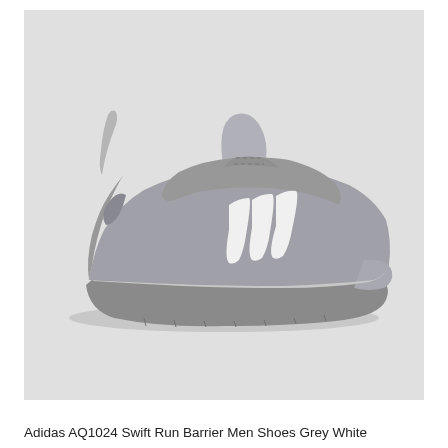[Figure (photo): Adidas AQ1024 Swift Run Barrier Men's shoe in grey and white colorway, side profile view on white/light grey background. The shoe features grey knit upper, three white stripes on the side, grey chunky sole, and a pull tab at the heel.]
Adidas AQ1024 Swift Run Barrier Men Shoes Grey White